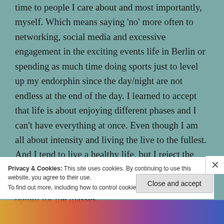time to people I care about and most importantly, myself. Which means saying 'no' more often to networking, social media and excessive engagement in the exciting events life in Berlin or spending as much time doing sports just to level up my endorphin since the day/night are not endless at the end of the day. I learned to accept that life is about enjoying different phases and I can't have everything at once. Even though I am all about intensity and living the live to the fullest. And I tend to live a healthy life, but I reject the idea of focusing myself on the fitness side of things to the extreme; I'm not very good with opium for the masses.
Privacy & Cookies: This site uses cookies. By continuing to use this website, you agree to their use.
To find out more, including how to control cookies, see here: Cookie Policy
Close and accept
[Figure (illustration): Colorful bottom strip with orange, red, purple, and blue colors, partially visible at bottom of page]